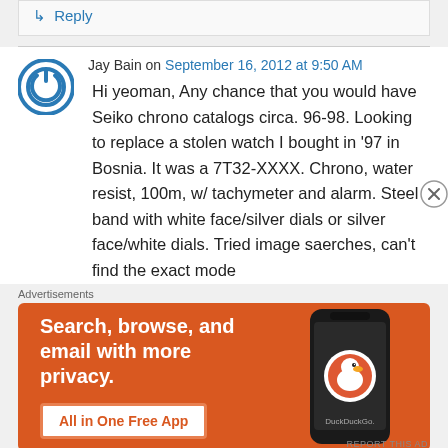↳ Reply
Jay Bain on September 16, 2012 at 9:50 AM
Hi yeoman, Any chance that you would have Seiko chrono catalogs circa. 96-98. Looking to replace a stolen watch I bought in '97 in Bosnia. It was a 7T32-XXXX. Chrono, water resist, 100m, w/ tachymeter and alarm. Steel band with white face/silver dials or silver face/white dials. Tried image saerches, can't find the exact mode
Advertisements
[Figure (screenshot): DuckDuckGo advertisement banner with orange background. Text reads 'Search, browse, and email with more privacy. All in One Free App'. Shows a phone with DuckDuckGo logo.]